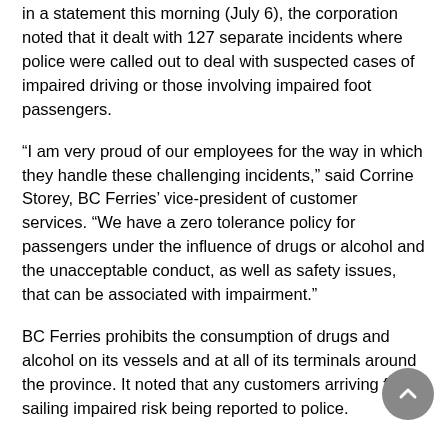in a statement this morning (July 6), the corporation noted that it dealt with 127 separate incidents where police were called out to deal with suspected cases of impaired driving or those involving impaired foot passengers.
“I am very proud of our employees for the way in which they handle these challenging incidents,” said Corrine Storey, BC Ferries’ vice-president of customer services. “We have a zero tolerance policy for passengers under the influence of drugs or alcohol and the unacceptable conduct, as well as safety issues, that can be associated with impairment.”
BC Ferries prohibits the consumption of drugs and alcohol on its vessels and at all of its terminals around the province. It noted that any customers arriving for a sailing impaired risk being reported to police.